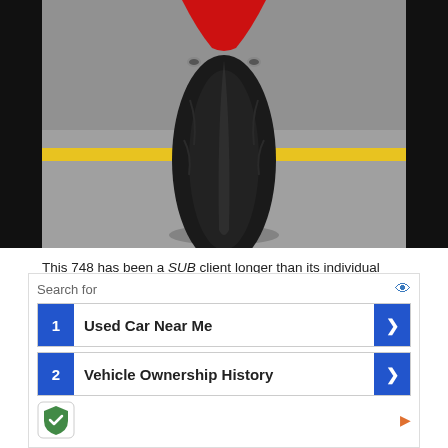[Figure (photo): Front-facing view of a red Ducati 748 motorcycle from behind, showing the rear tire on a concrete floor with a yellow painted line.]
This 748 has been a SUB client longer than its individual owners, and a recent valve train service should relieve any worries.  The chronically over-stressed coolant tank has been replaced by a robust aluminum unit, the fuel pump serviced and steering head bearings replaced.  The upgraded Marchesini wheels and Termignoni exhaust take this 748 very close to how an S was delivered.  That nick on the tailcone could be handled with a touch-up, and a repair to the inside of the front fender would be just about invisible.  Dave at Seattle
Search for
1 Used Car Near Me
2 Vehicle Ownership History